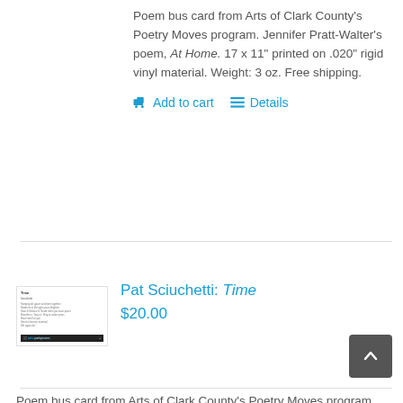Poem bus card from Arts of Clark County's Poetry Moves program. Jennifer Pratt-Walter's poem, At Home. 17 x 11" printed on .020" rigid vinyl material. Weight: 3 oz. Free shipping.
Add to cart   Details
[Figure (photo): Thumbnail image of a poem bus card for Pat Sciuchetti: Time, showing text of a poem on white background with a dark footer bar]
Pat Sciuchetti: Time
$20.00
Poem bus card from Arts of Clark County's Poetry Moves program. Pat Sciuchetti's poem, Time. 17 x 11" printed on .020" rigid vinyl...